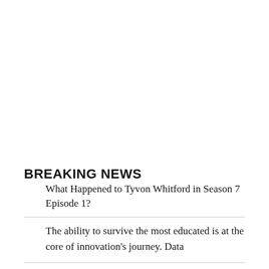BREAKING NEWS
What Happened to Tyvon Whitford in Season 7 Episode 1?
The ability to survive the most educated is at the core of innovation's journey. Data